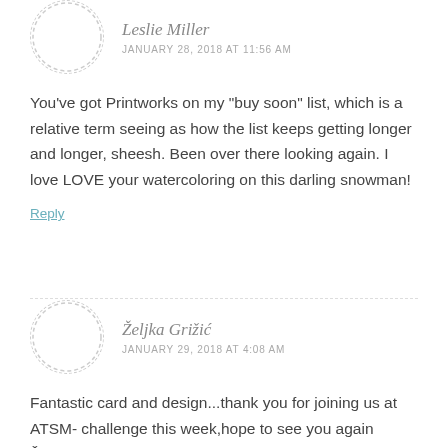Leslie Miller
JANUARY 28, 2018 AT 11:56 AM
You’ve got Printworks on my “buy soon” list, which is a relative term seeing as how the list keeps getting longer and longer, sheesh. Been over there looking again. I love LOVE your watercoloring on this darling snowman!
Reply
Željka Grižić
JANUARY 29, 2018 AT 4:08 AM
Fantastic card and design...thank you for joining us at ATSM- challenge this week,hope to see you again Željka DT xx